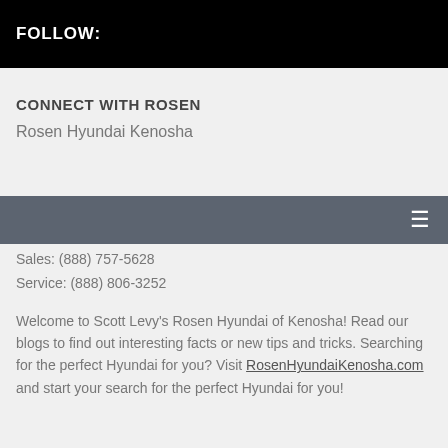FOLLOW:
CONNECT WITH ROSEN
Rosen Hyundai Kenosha
6701 120th Ave
Kenosha, WI 53142
Sales: (888) 757-5628
Service: (888) 806-3252
Welcome to Scott Levy's Rosen Hyundai of Kenosha! Read our blogs to find out interesting facts or new tips and tricks. Searching for the perfect Hyundai for you? Visit RosenHyundaiKenosha.com and start your search for the perfect Hyundai for you!